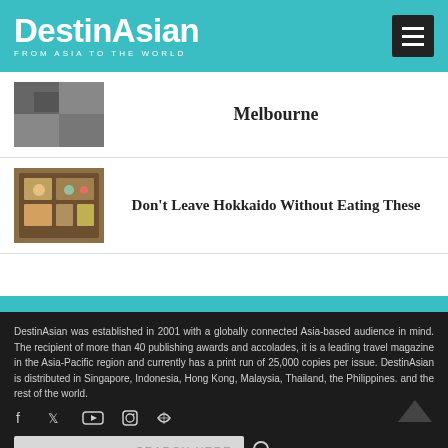DestinAsian — FROM ASIA TO THE WORLD
Melbourne
[Figure (photo): Thumbnail image related to Melbourne article]
Don't Leave Hokkaido Without Eating These
[Figure (photo): Thumbnail image of Hokkaido food bento box]
DestinAsian was established in 2001 with a globally connected Asia-based audience in mind. The recipient of more than 40 publishing awards and accolades, it is a leading travel magazine in the Asia-Pacific region and currently has a print run of 25,000 copies per issue. DestinAsian is distributed in Singapore, Indonesia, Hong Kong, Malaysia, Thailand, the Philippines. and the rest of the world.
[Figure (infographic): Social media icons: Facebook, Twitter, YouTube, Instagram, RSS]
SEARCH HERE